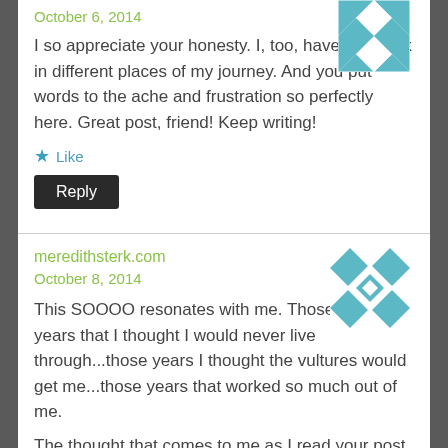October 6, 2014
[Figure (illustration): Teal and white quilt pattern avatar icon, top right of first comment]
I so appreciate your honesty. I, too, have felt stuck in different places of my journey. And you put words to the ache and frustration so perfectly here. Great post, friend! Keep writing!
★ Like
Reply
meredithsterk.com
October 8, 2014
[Figure (illustration): Teal and white geometric quilt pattern avatar icon, top right of second comment]
This SOOOO resonates with me. Those desert years that I thought I would never live through...those years I thought the vultures would get me...those years that worked so much out of me.
The thought that comes to me as I read your post, "Those Israelites were disappointed because they